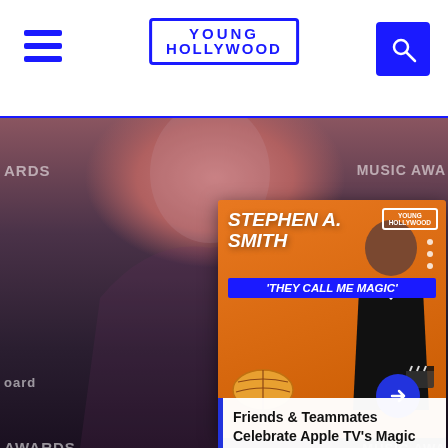Young Hollywood
[Figure (photo): Background photo of a woman in a sequined outfit at a Billboard Music Awards red carpet event]
[Figure (infographic): Stephen A. Smith promotional card for 'They Call Me Magic' Apple TV docu-series. Orange background with bold white italic text reading 'STEPHEN A. SMITH' and subtitle 'THEY CALL ME MAGIC'. Features photo of Stephen A. Smith in black suit and Young Hollywood logo. Basketball imagery and blue arrow button.]
Friends & Teammates Celebrate Apple TV's Magic Johnson Docu-Series | You...